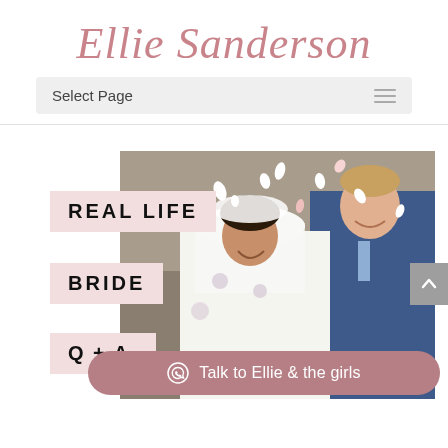Ellie Sanderson
Select Page
[Figure (screenshot): Wedding photo of a bride in a white veil dress and groom in a blue suit, with white confetti falling, smiling outdoors]
REAL LIFE
BRIDE
Q + A.
Talk to Ellie & the girls